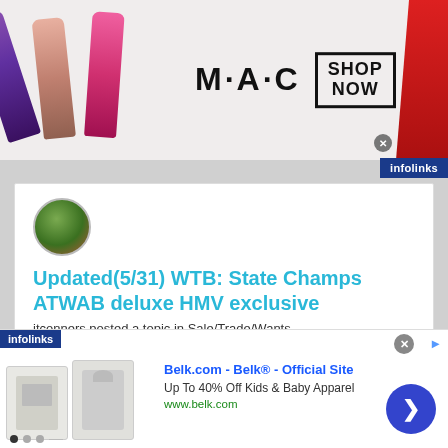[Figure (photo): MAC Cosmetics advertisement banner showing colorful lipsticks on the left and right with MAC logo and SHOP NOW button in center]
[Figure (logo): infolinks logo badge in dark blue]
[Figure (photo): User avatar showing outdoor/nature scene photo]
Updated(5/31) WTB: State Champs ATWAB deluxe HMV exclusive
jtconners posted a topic in Sale/Trade/Wants
State Champs- Around The World And Back Deluxe (HMV exclusive) (/500) I've variant collected champs for years, I
June 9, 2014  61 replies
[Figure (logo): infolinks logo badge in dark blue at bottom left]
[Figure (photo): Belk.com advertisement showing kids clothing items - t-shirt and hoodie]
Belk.com - Belk® - Official Site
Up To 40% Off Kids & Baby Apparel
www.belk.com